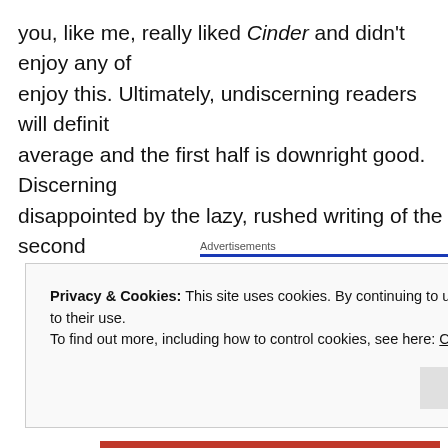you, like me, really liked Cinder and didn't enjoy any of enjoy this. Ultimately, undiscerning readers will definit average and the first half is downright good. Discerning disappointed by the lazy, rushed writing of the second
[Figure (screenshot): Advertisement for Pressable WordPress hosting. Shows 'Advertisements' label with blue underline, Pressable logo with blue P icon, dotted line, and large bold text reading 'The Platform Where WordPress' in dark navy/blue.]
Privacy & Cookies: This site uses cookies. By continuing to use this website, you agree to their use. To find out more, including how to control cookies, see here: Cookie Policy
Close and accept